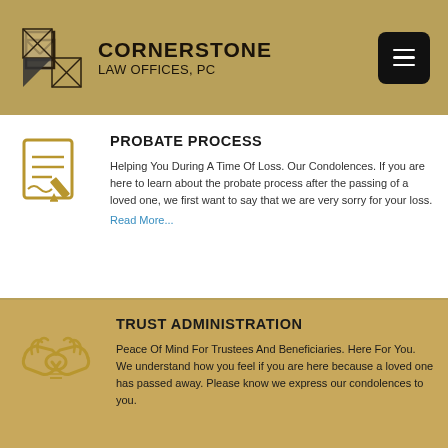CORNERSTONE LAW OFFICES, PC
PROBATE PROCESS
Helping You During A Time Of Loss. Our Condolences. If you are here to learn about the probate process after the passing of a loved one, we first want to say that we are very sorry for your loss.
Read More...
TRUST ADMINISTRATION
Peace Of Mind For Trustees And Beneficiaries. Here For You. We understand how you feel if you are here because a loved one has passed away. Please know we express our condolences to you.